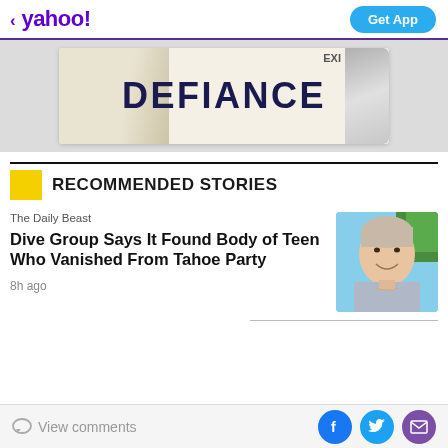< yahoo! | Get App
[Figure (photo): Advertisement banner showing the word DEFIANCE on a torn paper effect background]
RECOMMENDED STORIES
The Daily Beast
Dive Group Says It Found Body of Teen Who Vanished From Tahoe Party
8h ago
[Figure (photo): Photo of a young woman with short light-colored hair smiling, outdoor background with palm trees]
View comments | Facebook | Twitter | Mail